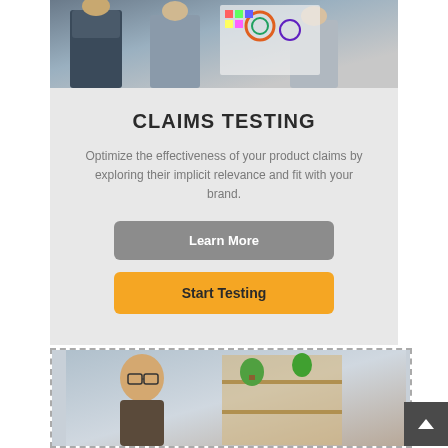[Figure (photo): Group of people in an office discussing something near a wall with color charts]
CLAIMS TESTING
Optimize the effectiveness of your product claims by exploring their implicit relevance and fit with your brand.
Learn More
Start Testing
[Figure (photo): Man with glasses smiling, sitting near shelves with plants in an office setting]